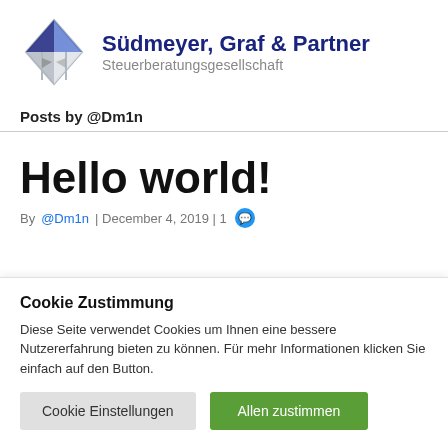[Figure (logo): Südmeyer, Graf & Partner Steuerberatungsgesellschaft logo with diamond/flag graphic in blue and grey]
Posts by @Dm1n
Hello world!
By @Dm1n | December 4, 2019 | 1 [comment]
Cookie Zustimmung
Diese Seite verwendet Cookies um Ihnen eine bessere Nutzererfahrung bieten zu können. Für mehr Informationen klicken Sie einfach auf den Button.
Cookie Einstellungen | Allen zustimmen